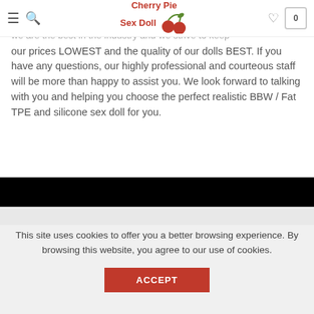Cherry Pie Sex Doll — navigation header with hamburger menu, search icon, logo, heart icon, and cart (0)
known for its limitations to provide the impressionable with the exact same high quality sex doll at a lower price, we are the best in the industry and we strive to keep our prices LOWEST and the quality of our dolls BEST. If you have any questions, our highly professional and courteous staff will be more than happy to assist you. We look forward to talking with you and helping you choose the perfect realistic BBW / Fat TPE and silicone sex doll for you.
[Figure (other): Black banner/footer section]
This site uses cookies to offer you a better browsing experience. By browsing this website, you agree to our use of cookies.
ACCEPT